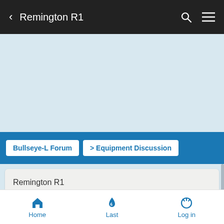< Remington R1
[Figure (screenshot): Light blue banner/advertisement area]
Bullseye-L Forum > Equipment Discussion
Remington R1
6 posters
Home  Last  Log in